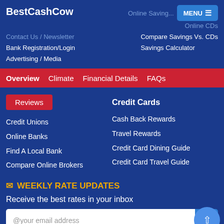BestCashCow
Online Savings | Online CDs | MENU
Contact Us / Newsletter
Bank Registration/Login
Advertising / Media
Compare Savings Vs. CDs
Savings Calculator
Overview | Climate | Financial Details | FAQs
Reviews
Credit Cards
Credit Unions
Cash Back Rewards
Online Banks
Travel Rewards
Find A Local Bank
Credit Card Dining Guide
Compare Online Brokers
Credit Card Travel Guide
WEEKLY RATE UPDATES
Receive the best rates in your inbox
@your email address